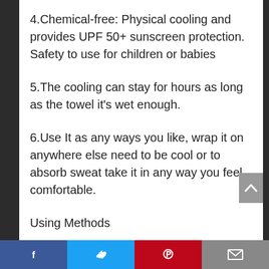4.Chemical-free: Physical cooling and provides UPF 50+ sunscreen protection. Safety to use for children or babies
5.The cooling can stay for hours as long as the towel it’s wet enough.
6.Use It as any ways you like, wrap it on anywhere else need to be cool or to absorb sweat take it in any way you feel comfortable.
Using Methods
Social share bar: Facebook, Twitter, Pinterest, Email